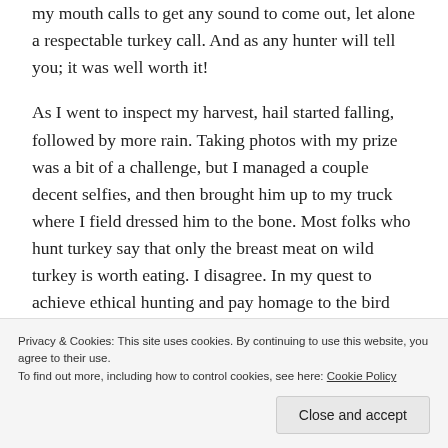my mouth calls to get any sound to come out, let alone a respectable turkey call. And as any hunter will tell you; it was well worth it!
As I went to inspect my harvest, hail started falling, followed by more rain. Taking photos with my prize was a bit of a challenge, but I managed a couple decent selfies, and then brought him up to my truck where I field dressed him to the bone. Most folks who hunt turkey say that only the breast meat on wild turkey is worth eating. I disagree. In my quest to achieve ethical hunting and pay homage to the bird who gave his life up
Privacy & Cookies: This site uses cookies. By continuing to use this website, you agree to their use.
To find out more, including how to control cookies, see here: Cookie Policy
Close and accept
cleaned, trimmed and vacuum sealed for turkey stew in